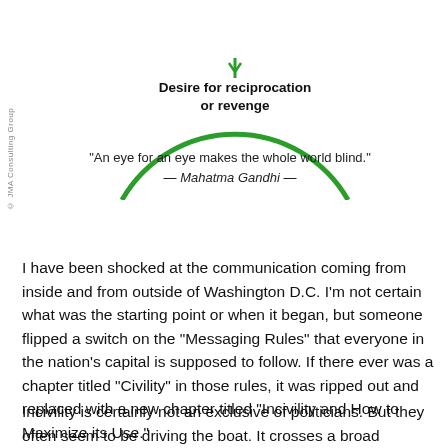[Figure (other): Partial green circle arc diagram with an arrow pointing downward, labeled 'Desire for reciprocation or revenge' at the bottom center]
“An eye for an eye makes the whole world blind.” — Mahatma Gandhi —
© JMA Consulting Group
I have been shocked at the communication coming from inside and from outside of Washington D.C. I’m not certain what was the starting point or when it began, but someone flipped a switch on the “Messaging Rules” that everyone in the nation’s capital is supposed to follow. If there ever was a chapter titled “Civility” in those rules, it was ripped out and replaced with a new chapter titled “Incivility and How to Maximize its Use.”
Incivility is certainly not an exclusive of politicians. But they often seem to be driving the boat. It crosses a broad spectrum